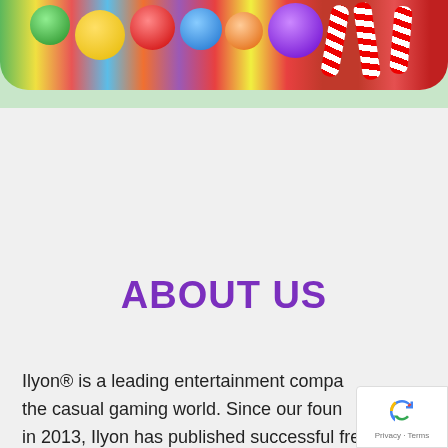[Figure (photo): Colorful candies, lollipops, and sweets image at the top of the page with rounded bottom corners]
ABOUT US
Ilyon® is a leading entertainment compa... the casual gaming world. Since our foun... in 2013, Ilyon has published successful free-